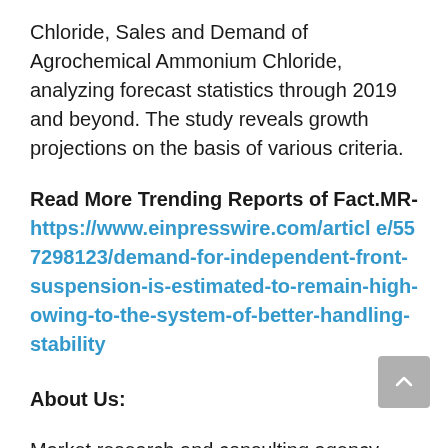Chloride, Sales and Demand of Agrochemical Ammonium Chloride, analyzing forecast statistics through 2019 and beyond. The study reveals growth projections on the basis of various criteria.
Read More Trending Reports of Fact.MR- https://www.einpresswire.com/article/557298123/demand-for-independent-front-suspension-is-estimated-to-remain-high-owing-to-the-system-of-better-handling-stability
About Us:
Market research and consulting agency with a